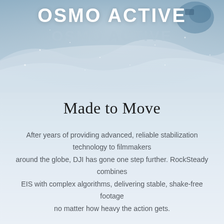[Figure (photo): Aerial/action winter scene with snow and blue tones, showing a snowboarder or action sport participant in motion with snow spray. DJI Osmo Active camera visible in upper right corner.]
OSMO ACTIVE
Made to Move
After years of providing advanced, reliable stabilization technology to filmmakers around the globe, DJI has gone one step further. RockSteady combines EIS with complex algorithms, delivering stable, shake-free footage no matter how heavy the action gets.